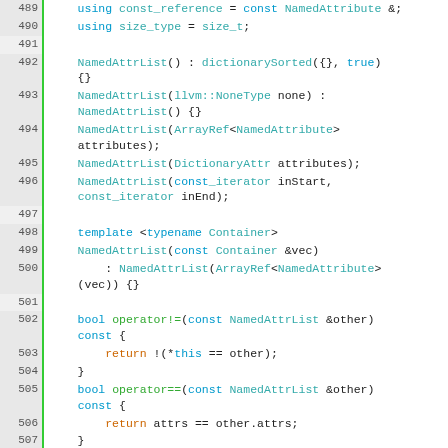Source code listing showing C++ class NamedAttrList methods, lines 489-513